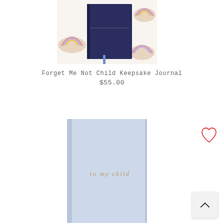[Figure (photo): A dark navy hardcover journal/book placed on a white surface with colorful rainbow cookie or pastry decorations around it, with a light blue ribbon bookmark.]
Forget Me Not Child Keepsake Journal
$55.00
[Figure (photo): A light blue/lavender hardcover journal with gold text reading 'to my child' on the front cover.]